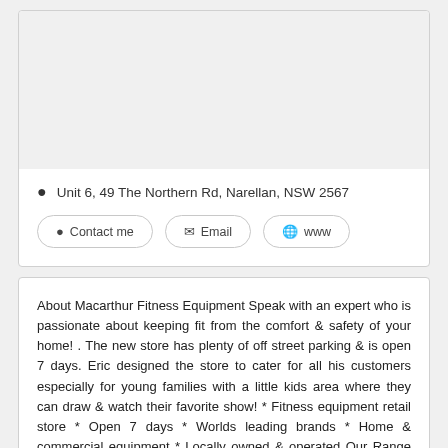Unit 6, 49 The Northern Rd, Narellan, NSW 2567
Contact me
Email
www
About Macarthur Fitness Equipment Speak with an expert who is passionate about keeping fit from the comfort & safety of your home! . The new store has plenty of off street parking & is open 7 days. Eric designed the store to cater for all his customers especially for young families with a little kids area where they can draw & watch their favorite show! * Fitness equipment retail store * Open 7 days * Worlds leading brands * Home & commercial equipment * Locally owned & operated Our Range Of Products: Accessories Battling... Read more